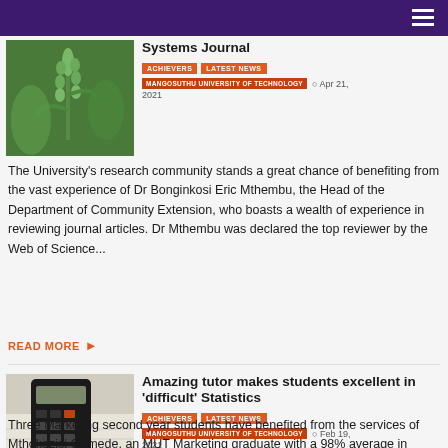Navigation bar with hamburger menu
Systems Journal
ACHIEVERS   LATEST NEWS
MANGOSUTHU UNIVERSITY OF TECHNOLOGY   Apr 21, 2021
The University's research community stands a great chance of benefiting from the vast experience of Dr Bonginkosi Eric Mthembu, the Head of the Department of Community Extension, who boasts a wealth of experience in reviewing journal articles. Dr Mthembu was declared the top reviewer by the Web of Science...
READ MORE
Amazing tutor makes students excellent in 'difficult' Statistics
ACHIEVERS   LATEST NEWS
MANGOSUTHU UNIVERSITY OF TECHNOLOGY   Feb 19, 2021
Three Marketing second year students have benefited from the services of Mthokozisi Gumede, an MUT Marketing graduate with a 98% average in Statistics. Mthokozisi assists Siyabonga Mkhize, Ntobeko Sunday and Mandisa Mthembu, who are all second...